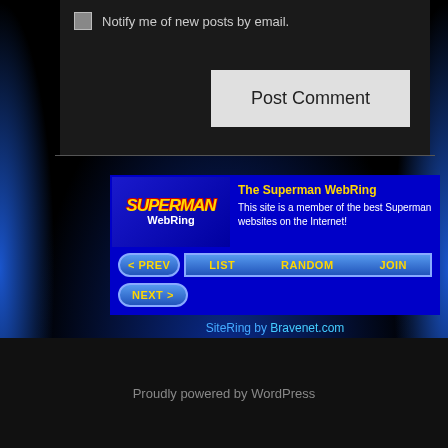Notify me of new posts by email.
Post Comment
[Figure (screenshot): Superman WebRing banner with logo, description text, and navigation buttons (PREV, LIST, RANDOM, JOIN, NEXT)]
The Superman WebRing
This site is a member of the best Superman websites on the Internet!
SiteRing by Bravenet.com
Proudly powered by WordPress